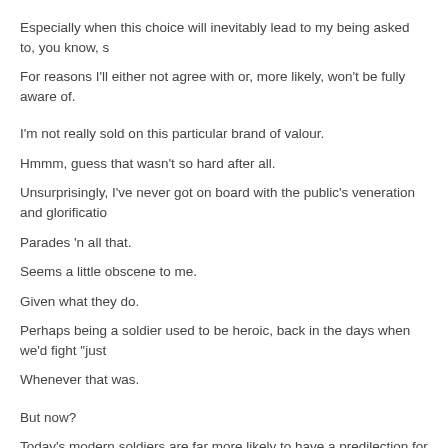Especially when this choice will inevitably lead to my being asked to, you know, s
For reasons I'll either not agree with or, more likely, won't be fully aware of.
I'm not really sold on this particular brand of valour.
Hmmm, guess that wasn't so hard after all.
Unsurprisingly, I've never got on board with the public's veneration and glorificatio
Parades 'n all that.
Seems a little obscene to me.
Given what they do.
Perhaps being a soldier used to be heroic, back in the days when we'd fight "just
Whenever that was.
But now?
Today's modern soldiers are far more likely to have a predilection for bloodlust, vi to anything "just".
So I'm naturally inclined to mistrust individuals, or "patriots" to give them their pre towards the armed forces.